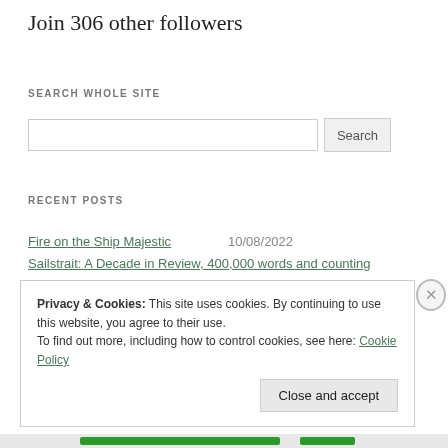Join 306 other followers
SEARCH WHOLE SITE
[Figure (screenshot): Search input box with Search button]
RECENT POSTS
Fire on the Ship Majestic   10/08/2022
Sailstrait: A Decade in Review, 400,000 words and counting
Privacy & Cookies: This site uses cookies. By continuing to use this website, you agree to their use. To find out more, including how to control cookies, see here: Cookie Policy